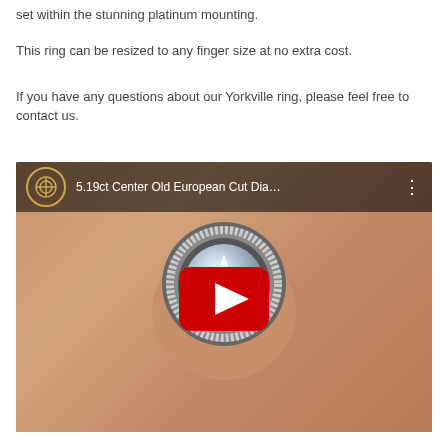set within the stunning platinum mounting.
This ring can be resized to any finger size at no extra cost.
If you have any questions about our Yorkville ring, please feel free to contact us.
[Figure (screenshot): YouTube video thumbnail showing a close-up of a diamond ring on a finger with a YouTube play button overlay. Video title reads '5.19ct Center Old European Cut Dia...' with a channel logo on the left.]